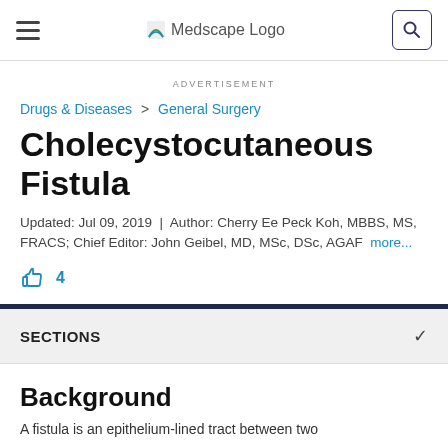Medscape Logo
ADVERTISEMENT
Drugs & Diseases > General Surgery
Cholecystocutaneous Fistula
Updated: Jul 09, 2019 | Author: Cherry Ee Peck Koh, MBBS, MS, FRACS; Chief Editor: John Geibel, MD, MSc, DSc, AGAF more...
4
SECTIONS
Background
A fistula is an epithelium-lined tract between two